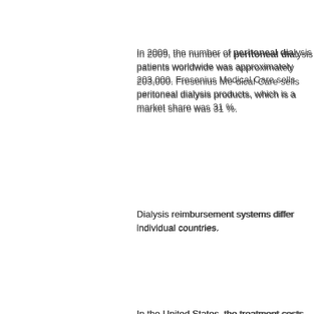In 2009, the number of peritoneal dialysis patients worldwide was approximately 203,000. Fresenius Medical Care sells peritoneal dialysis products, which is a market share was 31 %.
Dialysis reimbursement systems differ individual countries.
In the United States, the treatment costs health insurers. The public health care Centers for Medicare and Medicaid Services (CMS), cover the medical services in the United States. In 2009, CMS reimburses Medical Care's revenues. Changes in have a significant influence on our business compete on quality and availability.
Dialysis products
In the dialysis products market, the most machines, concentrates and dialysis solutions. Fresenius Medical Care is the world market leader of about 32 %. The top three manufacturers Dialyzers are by far the largest single sold in 2009, of which about 85 million